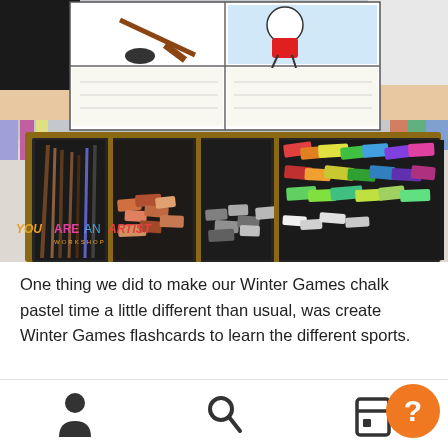[Figure (photo): A child holds up Winter Games flashcards/coloring sheets above a wooden art supply tray filled with colored pencils and chalk pastels in various colors. A 'YOU ARE AN ARTIST' watermark logo appears in the lower left of the photo.]
One thing we did to make our Winter Games chalk pastel time a little different than usual, was create Winter Games flashcards to learn the different sports.
I made a simple flashcard template that we used with each